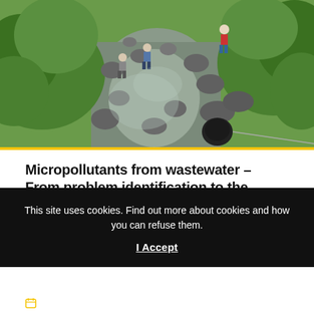[Figure (photo): Aerial/overhead view of people working in a shallow rocky stream surrounded by green vegetation, sampling water or conducting environmental fieldwork.]
Micropollutants from wastewater – From problem identification to the solution
ONLINE CONFERENCE 1-2 NOV
November 1, 2021
This site uses cookies. Find out more about cookies and how you can refuse them.
I Accept